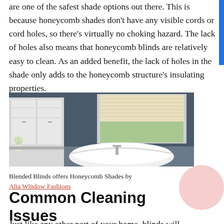are one of the safest shade options out there. This is because honeycomb shades don't have any visible cords or cord holes, so there's virtually no choking hazard. The lack of holes also means that honeycomb blinds are relatively easy to clean. As an added benefit, the lack of holes in the shade only adds to the honeycomb structure's insulating properties.
[Figure (photo): Bathroom interior with a white freestanding bathtub, white cabinetry, dark grey walls, and a window with a beige honeycomb shade partially lowered.]
Blended Blinds offers Honeycomb Shades by Alta Window Fashions
Common Cleaning Issues with Honeycomb Blinds
Just like any other part of your home, blinds will